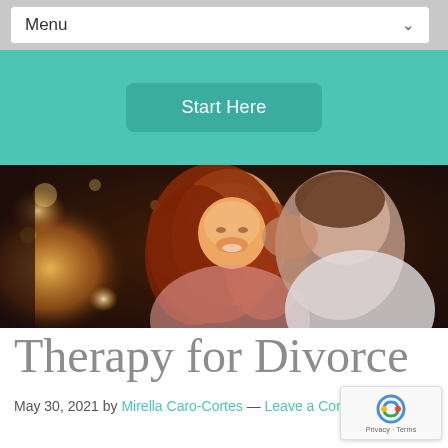Menu
[Figure (screenshot): Teal navigation band with a rounded 'Start Here' button]
[Figure (photo): A smiling woman with long auburn hair being embraced from behind by a man, bokeh background with warm golden lights]
Therapy for Divorce
May 30, 2021 by Mirella Caro-Cortes — Leave a Comment